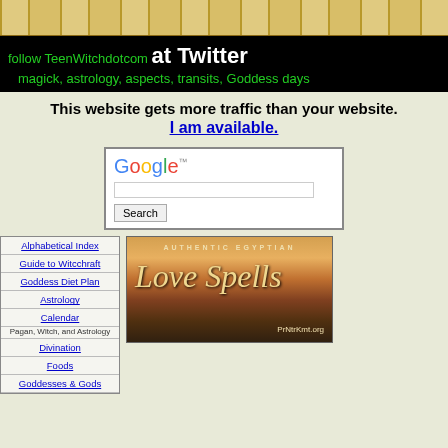[Figure (illustration): Decorative top banner with Egyptian-style pillars/columns repeating pattern in gold/tan colors]
follow TeenWitchdotcom at Twitter
magick, astrology, aspects, transits, Goddess days
This website gets more traffic than your website.
I am available.
[Figure (screenshot): Google search box with Google logo, text input field, and Search button]
Alphabetical Index
Guide to Witcchraft
Goddess Diet Plan
Astrology
Calendar
Pagan, Witch, and Astrology
Divination
Foods
Goddesses & Gods
[Figure (illustration): Advertisement for Authentic Egyptian Love Spells at PrNtrKmt.org with sunset desert background]